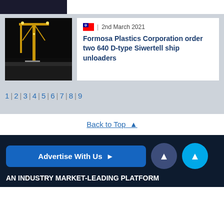[Figure (photo): Partial view of people at top of page, cropped strip]
[Figure (photo): Industrial crane at night with yellow lights]
2nd March 2021
Formosa Plastics Corporation order two 640 D-type Siwertell ship unloaders
1 | 2 | 3 | 4 | 5 | 6 | 7 | 8 | 9
Back to Top ↑
Advertise With Us →
AN INDUSTRY MARKET-LEADING PLATFORM